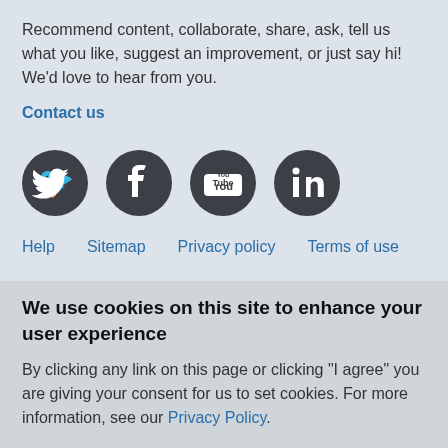Recommend content, collaborate, share, ask, tell us what you like, suggest an improvement, or just say hi! We'd love to hear from you.
Contact us
[Figure (illustration): Four social media icons: Twitter, Facebook, YouTube, LinkedIn — dark circular buttons]
Help   Sitemap   Privacy policy   Terms of use
Tweets by @BetterEval
We use cookies on this site to enhance your user experience
By clicking any link on this page or clicking "I agree" you are giving your consent for us to set cookies. For more information, see our Privacy Policy.